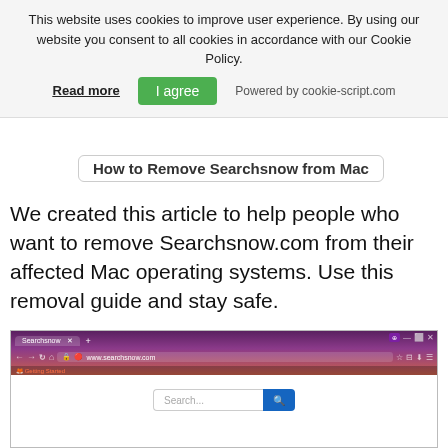This website uses cookies to improve user experience. By using our website you consent to all cookies in accordance with our Cookie Policy.
Read more | I agree | Powered by cookie-script.com
How to Remove Searchsnow from Mac
We created this article to help people who want to remove Searchsnow.com from their affected Mac operating systems. Use this removal guide and stay safe.
[Figure (screenshot): Screenshot of Searchsnow.com browser hijacker page open in Firefox browser on Mac, showing a search bar with Search... placeholder and shortcuts to Amazon, eBay, Sam's Club, Chewy, and Booking websites]